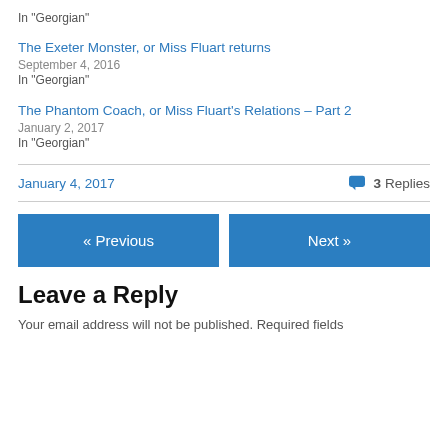In "Georgian"
The Exeter Monster, or Miss Fluart returns
September 4, 2016
In "Georgian"
The Phantom Coach, or Miss Fluart's Relations – Part 2
January 2, 2017
In "Georgian"
January 4, 2017   3 Replies
« Previous   Next »
Leave a Reply
Your email address will not be published. Required fields